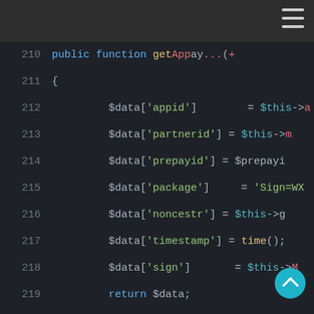[Figure (screenshot): Code editor screenshot showing PHP code with syntax highlighting, dark theme. Lines 210-226 visible. Code includes array assignments like $data['appid'], $data['partnerid'], $data['prepayid'], $data['package'], $data['noncestr'], $data['timestamp'], $data['sign'], return $data, closing brace, JSDoc comment block, and public function MakeSign($params) declaration.]